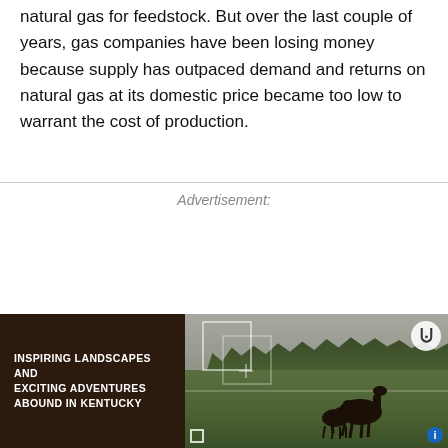natural gas for feedstock. But over the last couple of years, gas companies have been losing money because supply has outpaced demand and returns on natural gas at its domestic price became too low to warrant the cost of production.
Advertisement:
[Figure (photo): Advertisement banner showing an outdoor Kentucky landscape with horses, dark earth on the left side with bold white text reading 'INSPIRING LANDSCAPES AND EXCITING ADVENTURES ABOUND IN KENTUCKY', and a rural countryside photo on the right with green fields, trees, fence, and two horses (mare and foal). Has a close (X) button, bracket/crosshair overlay elements, expand icon, and an info icon.]